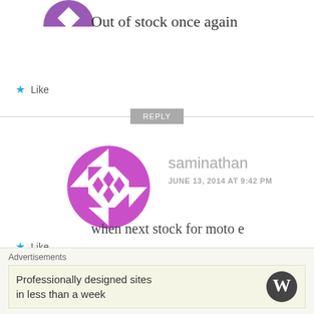[Figure (illustration): Partial purple/geometric avatar icon at top left, cropped]
Out of stock once again
★ Like
REPLY
[Figure (illustration): Purple geometric/quilt-pattern circular avatar for user saminathan]
saminathan
JUNE 13, 2014 AT 9:42 PM
when next stock for moto e
★ Like
REPLY
Advertisements
Professionally designed sites in less than a week